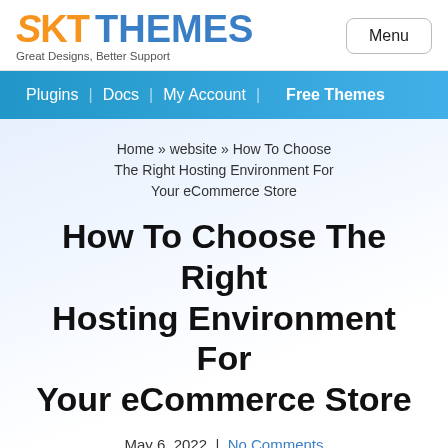SKT THEMES — Great Designs, Better Support | Menu
Plugins | Docs | My Account | Free Themes
Home » website » How To Choose The Right Hosting Environment For Your eCommerce Store
How To Choose The Right Hosting Environment For Your eCommerce Store
May 6, 2022  |  No Comments